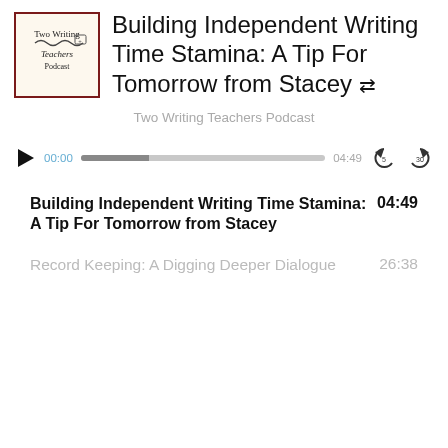[Figure (logo): Two Writing Teachers Podcast logo — cream background with dark red border, text reads 'Two Writing Teachers Podcast' with a small icon]
Building Independent Writing Time Stamina: A Tip For Tomorrow from Stacey ↔
Two Writing Teachers Podcast
[Figure (screenshot): Audio player bar: play button, time 00:00, progress bar (about 28% filled), time 04:49, skip-back 5s button, skip-forward 30s button]
Building Independent Writing Time Stamina: A Tip For Tomorrow from Stacey	04:49
Record Keeping: A Digging Deeper Dialogue	26:38